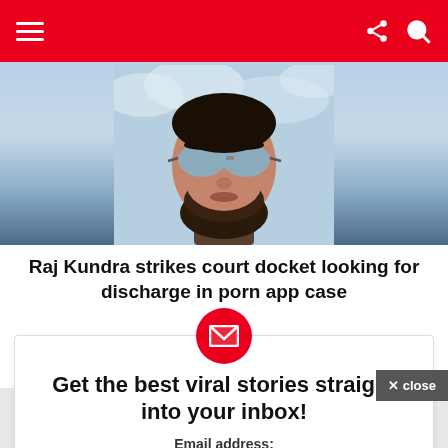Navigation header with hamburger menu and share/search icons
[Figure (photo): Close-up photo of a bearded man wearing round blue-tinted sunglasses against a light blue/cloudy background. Only the upper face/head is visible.]
Raj Kundra strikes court docket looking for discharge in porn app case
Get the best viral stories straight into your inbox!
Email address:
Your email address
× close
ad 728×90